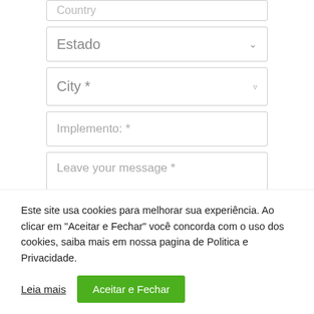[Figure (screenshot): Web form with Country field (truncated at top), Estado dropdown, City dropdown, Implemento text field, Leave your message textarea, and Request Contact button (partially visible)]
Este site usa cookies para melhorar sua experiência. Ao clicar em "Aceitar e Fechar" você concorda com o uso dos cookies, saiba mais em nossa pagina de Politica e Privacidade.
Leia mais
Aceitar e Fechar